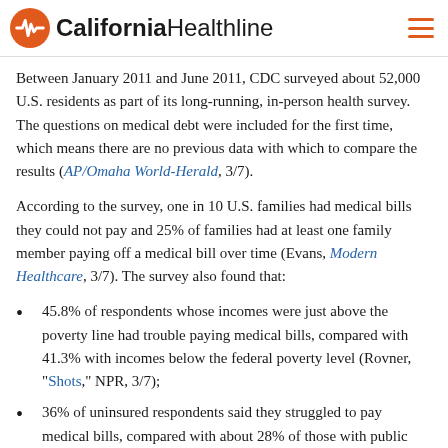California Healthline
Between January 2011 and June 2011, CDC surveyed about 52,000 U.S. residents as part of its long-running, in-person health survey. The questions on medical debt were included for the first time, which means there are no previous data with which to compare the results (AP/Omaha World-Herald, 3/7).
According to the survey, one in 10 U.S. families had medical bills they could not pay and 25% of families had at least one family member paying off a medical bill over time (Evans, Modern Healthcare, 3/7). The survey also found that:
45.8% of respondents whose incomes were just above the poverty line had trouble paying medical bills, compared with 41.3% with incomes below the federal poverty level (Rovner, "Shots," NPR, 3/7);
36% of uninsured respondents said they struggled to pay medical bills, compared with about 28% of those with public insurance and about 16% of those with private insurance (Modern Healthcare, 3/7);